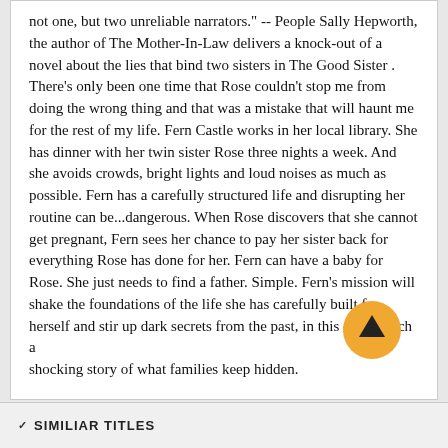not one, but two unreliable narrators." -- People Sally Hepworth, the author of The Mother-In-Law delivers a knock-out of a novel about the lies that bind two sisters in The Good Sister. There's only been one time that Rose couldn't stop me from doing the wrong thing and that was a mistake that will haunt me for the rest of my life. Fern Castle works in her local library. She has dinner with her twin sister Rose three nights a week. And she avoids crowds, bright lights and loud noises as much as possible. Fern has a carefully structured life and disrupting her routine can be...dangerous. When Rose discovers that she cannot get pregnant, Fern sees her chance to pay her sister back for everything Rose has done for her. Fern can have a baby for Rose. She just needs to find a father. Simple. Fern's mission will shake the foundations of the life she has carefully built for herself and stir up dark secrets from the past, in this quirky, rich and shocking story of what families keep hidden.
SIMILIAR TITLES